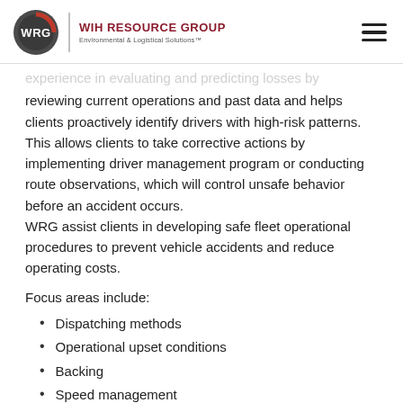WIH RESOURCE GROUP Environmental & Logistical Solutions™
experience in evaluating and predicting losses by reviewing current operations and past data and helps clients proactively identify drivers with high-risk patterns. This allows clients to take corrective actions by implementing driver management program or conducting route observations, which will control unsafe behavior before an accident occurs. WRG assist clients in developing safe fleet operational procedures to prevent vehicle accidents and reduce operating costs.
Focus areas include:
Dispatching methods
Operational upset conditions
Backing
Speed management